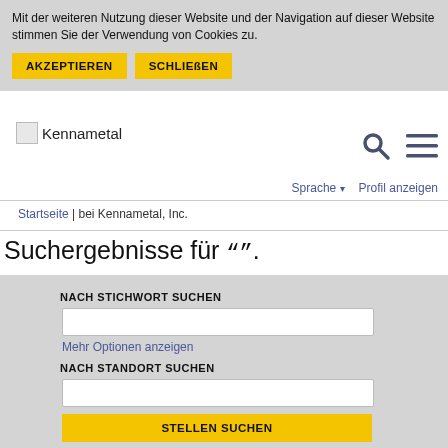Mit der weiteren Nutzung dieser Website und der Navigation auf dieser Website stimmen Sie der Verwendung von Cookies zu.
AKZEPTIEREN
SCHLIEßEN
[Figure (logo): Kennametal logo]
[Figure (other): Search icon (magnifying glass) and hamburger menu icon]
Sprache ▾   Profil anzeigen
Startseite | bei Kennametal, Inc.
Suchergebnisse für "".
NACH STICHWORT SUCHEN
Mehr Optionen anzeigen
NACH STANDORT SUCHEN
STELLEN SUCHEN